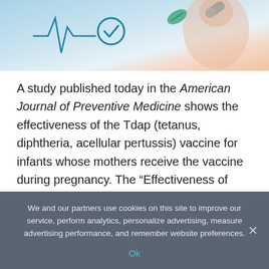[Figure (photo): Medical/health themed image showing a healthcare professional with digital health icons including a heartbeat line, pill/capsule, and leaf symbols on a light blue and peach background]
A study published today in the American Journal of Preventive Medicine shows the effectiveness of the Tdap (tetanus, diphtheria, acellular pertussis) vaccine for infants whose mothers receive the vaccine during pregnancy. The “Effectiveness of Prenatal Tetanus, Diphtheria, Acellular Pertussis Vaccination in the Prevention of Infant Pertussis in the U.S.” study led by Sylvia Becker-Dreps, MD, MPH, associate professor in the departments of family medicine in the UNC School
We and our partners use cookies on this site to improve our service, perform analytics, personalize advertising, measure advertising performance, and remember website preferences.